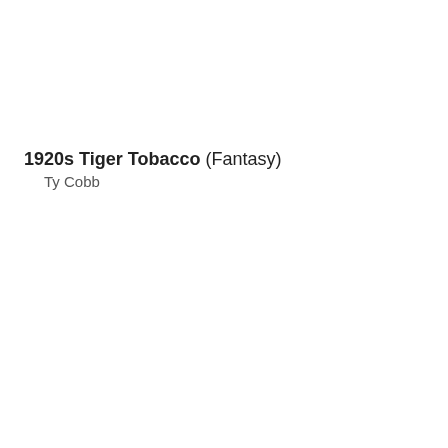1920s Tiger Tobacco (Fantasy)
Ty Cobb
[Figure (photo): Vintage style baseball card showing front and back. Front: player portrait with blue cap with 'P' logo, green background with baseball silhouettes, player name 'Henry Oana', signature 'Chuck Klein', small inset portrait, red banner at bottom. Back: tan/brown cardboard with green text, player name 'Henry Oana', team 'Philadelphia Phillies', biographical text, signature, 'Big League Chewing Gum' branding, 'Goudey Gum Co. Boston'.]